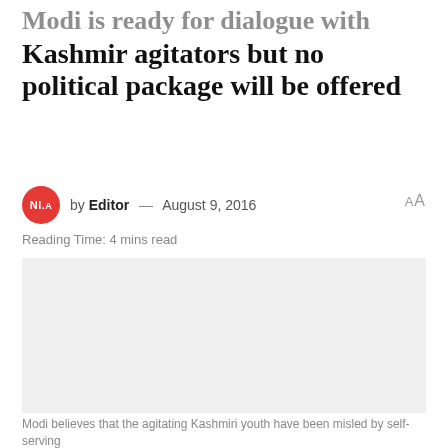Modi is ready for dialogue with Kashmir agitators but no political package will be offered
by Editor — August 9, 2016
Reading Time: 4 mins read
[Figure (photo): A grey placeholder image block]
Modi believes that the agitating Kashmiri youth have been misled by self-serving